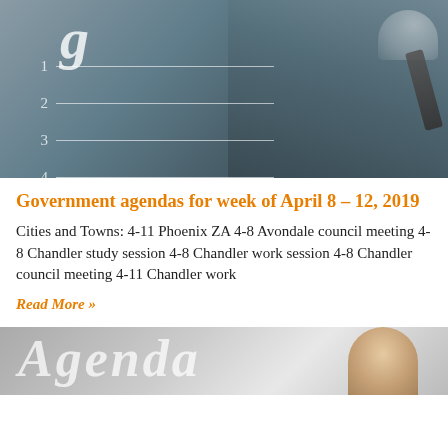[Figure (photo): Person in suit writing on a board with a numbered agenda list (1-4) with horizontal lines, viewed from the side]
Government agendas for week of April 8 – 12, 2019
Cities and Towns: 4-11 Phoenix ZA 4-8 Avondale council meeting 4-8 Chandler study session 4-8 Chandler work session 4-8 Chandler council meeting 4-11 Chandler work
Read More »
[Figure (photo): Partial image of a person with the word Agenda visible at the bottom of the page]